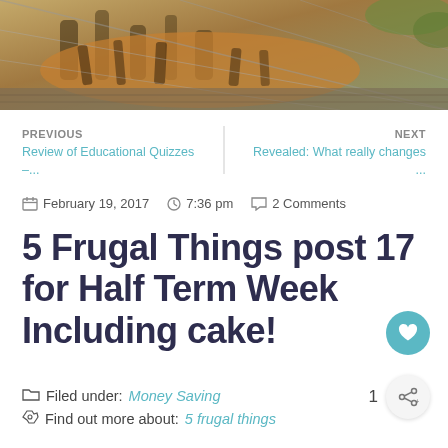[Figure (photo): A tiger or large striped cat resting behind wire fencing on a wooden surface, photographed from above. Foliage visible in background.]
PREVIOUS
Review of Educational Quizzes –...
NEXT
Revealed: What really changes ...
February 19, 2017    7:36 pm    2 Comments
5 Frugal Things post 17 for Half Term Week Including cake!
Filed under: Money Saving
Find out more about: 5 frugal things